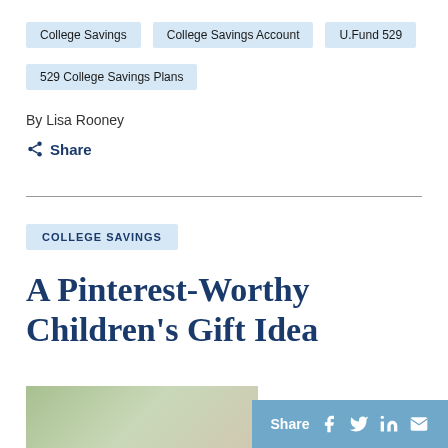College Savings
College Savings Account
U.Fund 529
529 College Savings Plans
By Lisa Rooney
Share
COLLEGE SAVINGS
A Pinterest-Worthy Children's Gift Idea
[Figure (photo): Photo of a woman, partially visible, with a light background suggesting an indoor setting with plants.]
Share